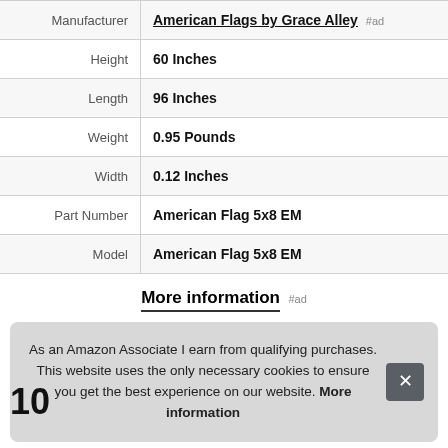| Attribute | Value |
| --- | --- |
| Manufacturer | American Flags by Grace Alley #ad |
| Height | 60 Inches |
| Length | 96 Inches |
| Weight | 0.95 Pounds |
| Width | 0.12 Inches |
| Part Number | American Flag 5x8 EM |
| Model | American Flag 5x8 EM |
More information #ad
As an Amazon Associate I earn from qualifying purchases. This website uses the only necessary cookies to ensure you get the best experience on our website. More information